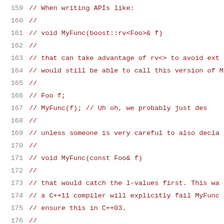[Figure (screenshot): Source code listing showing C++ comment block, lines 159-180, with line numbers on the left in gray and code in dark red monospace font on white background.]